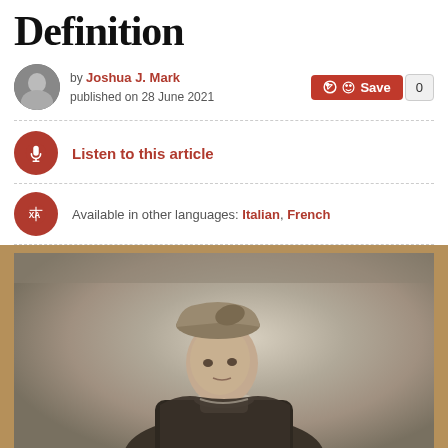Definition
by Joshua J. Mark
published on 28 June 2021
Listen to this article
Available in other languages: Italian, French
[Figure (photo): Black and white vintage portrait photograph of a woman wearing a decorative hat and dark clothing, shown against a mottled grey background, mounted on a brown/tan card]